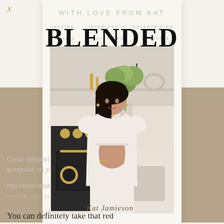WITH LOVE FROM KAT
FASHION   INTERIORS   ENTERTAINING
TRAVEL   FAVORITES   SEARCH
BLENDED
[Figure (photo): Woman in white dress standing in a kitchen with a black stove and green floral arrangement]
RACH SAYS
Great romper! This color looks gorgeous on you!
http://www.rdsobsessions.com
AUGUST 24, 2014   REPLY
CHELSEA'S COLLECTION
You can definitely take that red